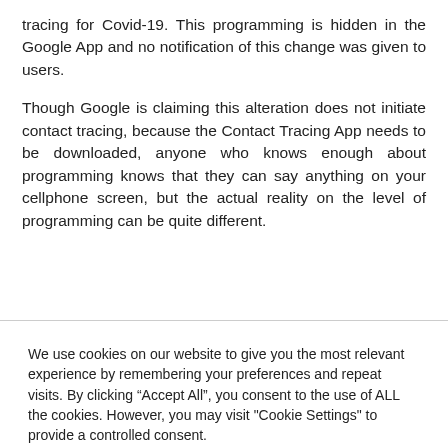tracing for Covid-19. This programming is hidden in the Google App and no notification of this change was given to users.
Though Google is claiming this alteration does not initiate contact tracing, because the Contact Tracing App needs to be downloaded, anyone who knows enough about programming knows that they can say anything on your cellphone screen, but the actual reality on the level of programming can be quite different.
We use cookies on our website to give you the most relevant experience by remembering your preferences and repeat visits. By clicking “Accept All”, you consent to the use of ALL the cookies. However, you may visit "Cookie Settings" to provide a controlled consent.